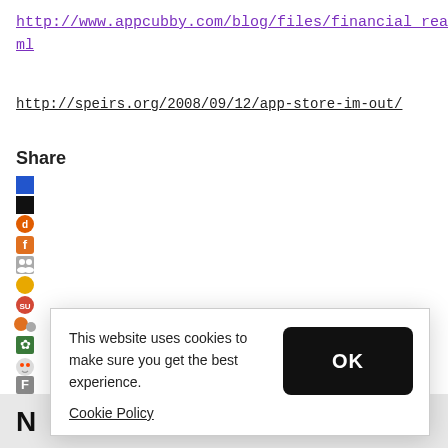http://www.appcubby.com/blog/files/financial_realities.html
http://speirs.org/2008/09/12/app-store-im-out/
Share
[Figure (other): Column of social media sharing icons including blue square, black square, Digg, Facebook (orange F), people icon, golden circle, StumbleUpon, orange/grey circles, green tree/snowflake, Reddit alien, F icon, T icon, Facebook blue f icon]
This website uses cookies to make sure you get the best experience.
Cookie Policy
OK
N